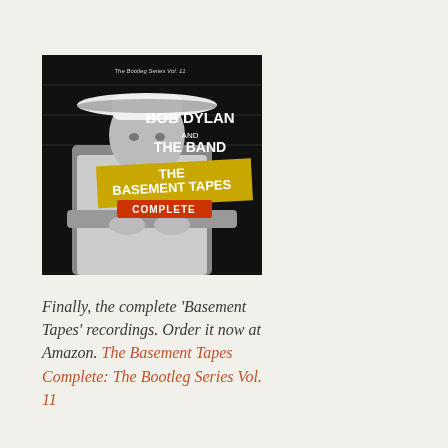[Figure (illustration): Album cover for Bob Dylan and The Band - The Basement Tapes Complete: The Bootleg Series Vol. 11. Black and white photo of Bob Dylan wearing a wide-brimmed white hat, leaning on a surface. Text on cover reads 'The Bootleg Series Vol. 11', 'BOB DYLAN AND THE BAND', 'THE BASEMENT TAPES COMPLETE' in bold white and yellow letters on dark background.]
Finally, the complete 'Basement Tapes' recordings. Order it now at Amazon. The Basement Tapes Complete: The Bootleg Series Vol. 11